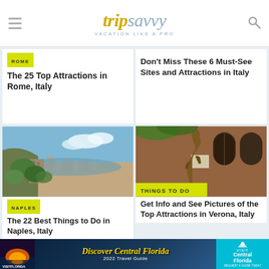tripsavvy VACATION LIKE A PRO
[Figure (screenshot): TripSavvy website header with logo 'tripsavvy' and tagline 'VACATION LIKE A PRO', hamburger menu icon on left, search icon on right]
ROME
The 25 Top Attractions in Rome, Italy
Don't Miss These 6 Must-See Sites and Attractions in Italy
[Figure (photo): Aerial landscape view of Naples, Italy from a hilltop with ancient walls and cityscape in background]
NAPLES
The 22 Best Things to Do in Naples, Italy
[Figure (photo): Bronze statue of Juliet in Verona Italy courtyard with brick building and arched windows]
THINGS TO DO
Get Info and See Pictures of the Top Attractions in Verona, Italy
[Figure (infographic): Advertisement banner: Discover Central Florida 2022 Travel Guide with Visit Central Florida logo]